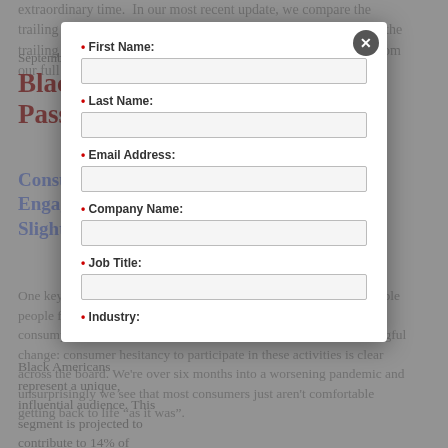extraordinary time. In our most recent update, we compare the trailing average of four pulse surveys through mid-September to the trailing average through late August. Read further for excerpts from our full report available exclusively to members.
September 8, 2022
Black Consumer Passion Points
Consumers Remain Generally Hesitant to Engage in Social Activities But Trending Slightly Positive.
One key indicator for increasing economic activity is how comfortable people feel engaging in the social activities which drive personal consumption and job creation. The story here is that of little meaningful change: consumer hesitancy to participate in these activities is clear across the board. We're over six months into a worsening pandemic and unsurprisingly we see that most consumers just aren't comfortable getting back to life "as it was".
Black Americans represent a unique, influential audience. This segment is projected to contribute to 14% of
[Figure (other): A modal form dialog overlaying the document with fields: First Name, Last Name, Email Address, Company Name, Job Title, Industry. A close (X) button is in the top right corner of the modal.]